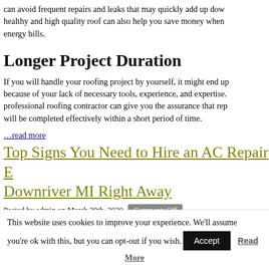can avoid frequent repairs and leaks that may quickly add up down the line. A healthy and high quality roof can also help you save money when it comes to energy bills.
Longer Project Duration
If you will handle your roofing project by yourself, it might end up taking longer because of your lack of necessary tools, experience, and expertise. Hiring a professional roofing contractor can give you the assurance that repair projects will be completed effectively within a short period of time.
…read more
Top Signs You Need to Hire an AC Repair Expert Downriver MI Right Away
Posted by admin on March 29th, 2020   Comments Off
Does your air conditioner still give you the kind of service you ex…
More often than not, your AC unit will send you some signals that…
This website uses cookies to improve your experience. We'll assume you're ok with this, but you can opt-out if you wish.   Accept   Read More